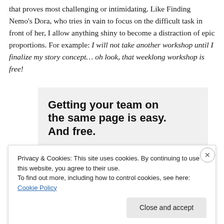that proves most challenging or intimidating. Like Finding Nemo's Dora, who tries in vain to focus on the difficult task in front of her, I allow anything shiny to become a distraction of epic proportions. For example: I will not take another workshop until I finalize my story concept… oh look, that weeklong workshop is free!
[Figure (infographic): Advertisement box with bold text 'Getting your team on the same page is easy. And free.' with four circular avatar photos below including a blue avatar with a person icon.]
Privacy & Cookies: This site uses cookies. By continuing to use this website, you agree to their use.
To find out more, including how to control cookies, see here: Cookie Policy